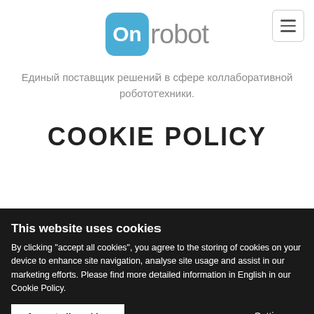[Figure (logo): OnRobot logo — circular blue icon with white 'On' text and grey 'robot' wordmark]
Единый поставщик решений в сфере коллаборативной робототехники.
COOKIE POLICY
This website uses cookies
By clicking "accept all cookies", you agree to the storing of cookies on your device to enhance site navigation, analyse site usage and assist in our marketing efforts. Please find more detailed information in English in our Cookie Policy.
Accept all cookies
Settings